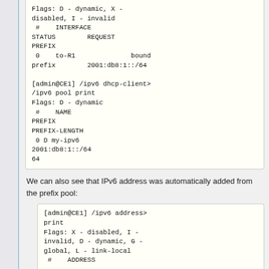[Figure (screenshot): Terminal/CLI output showing IPv6 DHCP client interface and pool print commands with status output including FLAGS, INTERFACE STATUS REQUEST PREFIX table and pool entry with 0 D my-ipv6 2001:db8:1::/64 64]
We can also see that IPv6 address was automatically added from the prefix pool:
[Figure (screenshot): Terminal/CLI output showing IPv6 address print command with Flags: X - disabled, I - invalid, D - dynamic, G - global, L - link-local and # ADDRESS header]